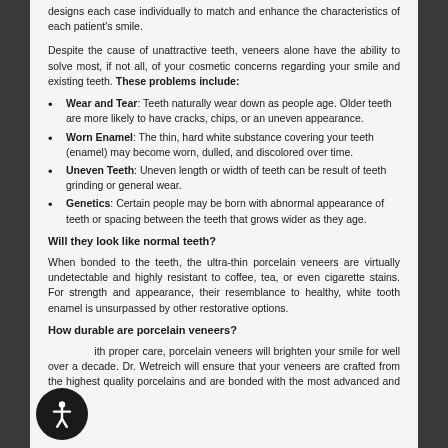designs each case individually to match and enhance the characteristics of each patient's smile.
Despite the cause of unattractive teeth, veneers alone have the ability to solve most, if not all, of your cosmetic concerns regarding your smile and existing teeth. These problems include:
Wear and Tear: Teeth naturally wear down as people age. Older teeth are more likely to have cracks, chips, or an uneven appearance.
Worn Enamel: The thin, hard white substance covering your teeth (enamel) may become worn, dulled, and discolored over time.
Uneven Teeth: Uneven length or width of teeth can be result of teeth grinding or general wear.
Genetics: Certain people may be born with abnormal appearance of teeth or spacing between the teeth that grows wider as they age.
Will they look like normal teeth?
When bonded to the teeth, the ultra-thin porcelain veneers are virtually undetectable and highly resistant to coffee, tea, or even cigarette stains. For strength and appearance, their resemblance to healthy, white tooth enamel is unsurpassed by other restorative options.
How durable are porcelain veneers?
With proper care, porcelain veneers will brighten your smile for well over a decade. Dr. Wetreich will ensure that your veneers are crafted from the highest quality porcelains and are bonded with the most advanced and proven